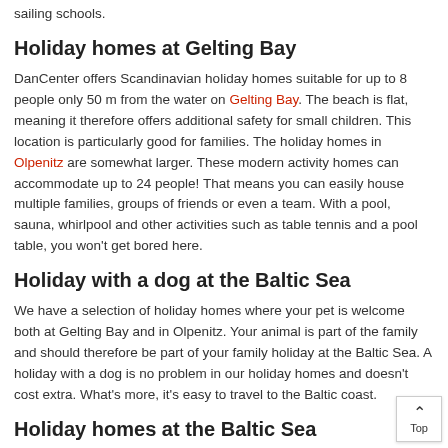sailing schools.
Holiday homes at Gelting Bay
DanCenter offers Scandinavian holiday homes suitable for up to 8 people only 50 m from the water on Gelting Bay. The beach is flat, meaning it therefore offers additional safety for small children. This location is particularly good for families. The holiday homes in Olpenitz are somewhat larger. These modern activity homes can accommodate up to 24 people! That means you can easily house multiple families, groups of friends or even a team. With a pool, sauna, whirlpool and other activities such as table tennis and a pool table, you won't get bored here.
Holiday with a dog at the Baltic Sea
We have a selection of holiday homes where your pet is welcome both at Gelting Bay and in Olpenitz. Your animal is part of the family and should therefore be part of your family holiday at the Baltic Sea. A holiday with a dog is no problem in our holiday homes and doesn't cost extra. What's more, it's easy to travel to the Baltic coast.
Holiday homes at the Baltic Sea